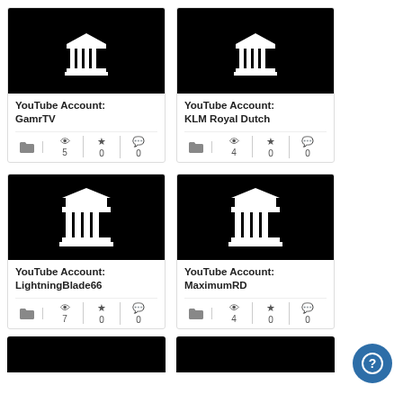[Figure (screenshot): Grid of YouTube account cards. Top row: GamrTV (views:5, stars:0, comments:0) and KLM Royal Dutch (views:4, stars:0, comments:0). Middle row: LightningBlade66 (views:7, stars:0, comments:0) and MaximumRD (views:4, stars:0, comments:0). Bottom row shows two partial black thumbnail images.]
YouTube Account: GamrTV
YouTube Account: KLM Royal Dutch
YouTube Account: LightningBlade66
YouTube Account: MaximumRD